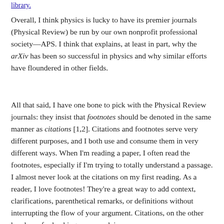library.
Overall, I think physics is lucky to have its premier journals (Physical Review) be run by our own nonprofit professional society—APS. I think that explains, at least in part, why the arXiv has been so successful in physics and why similar efforts have floundered in other fields.
All that said, I have one bone to pick with the Physical Review journals: they insist that footnotes should be denoted in the same manner as citations [1,2]. Citations and footnotes serve very different purposes, and I both use and consume them in very different ways. When I'm reading a paper, I often read the footnotes, especially if I'm trying to totally understand a passage. I almost never look at the citations on my first reading. As a reader, I love footnotes! They're a great way to add context, clarifications, parenthetical remarks, or definitions without interrupting the flow of your argument. Citations, on the other hand, are for backing up your claims and I can see that if footnotes form part of...